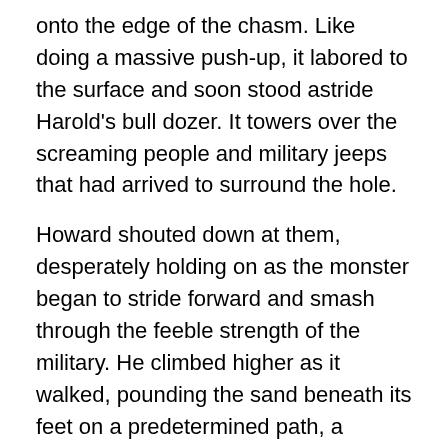onto the edge of the chasm. Like doing a massive push-up, it labored to the surface and soon stood astride Harold's bull dozer. It towers over the screaming people and military jeeps that had arrived to surround the hole.
Howard shouted down at them, desperately holding on as the monster began to stride forward and smash through the feeble strength of the military. He climbed higher as it walked, pounding the sand beneath its feet on a predetermined path, a massive metal pharaoh on a journey to do who knew what damage to an unknown enemy.
Harold continued climbing the rungs, his knuckles and forearms screaming in pain from being jostled about by the monster, and soon he was nearing the waist, the hip joint grinding back and forth as it walked. More rungs ran